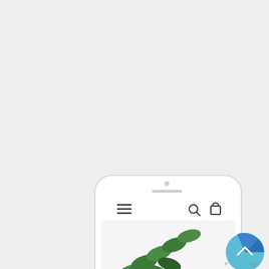[Figure (screenshot): A white smartphone (iPhone-style) shown from the top portion, cropped at the bottom edge of the page. The phone has a front camera dot and speaker grille at top. The screen shows a mobile web interface with a hamburger menu icon (three horizontal lines) on the left, a search icon and shopping bag icon on the right in a white navigation bar. Below the nav bar is a partial photo of green leaves/plant on a white background. In the bottom-right corner is a partially visible circular blue button with an upward chevron arrow and partially visible text 'P...rms'.]